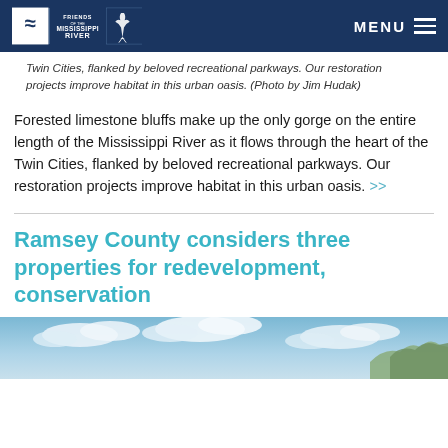Friends of the Mississippi River — MENU
Twin Cities, flanked by beloved recreational parkways. Our restoration projects improve habitat in this urban oasis. (Photo by Jim Hudak)
Forested limestone bluffs make up the only gorge on the entire length of the Mississippi River as it flows through the heart of the Twin Cities, flanked by beloved recreational parkways. Our restoration projects improve habitat in this urban oasis. >>
Ramsey County considers three properties for redevelopment, conservation
[Figure (photo): Outdoor photo showing a blue sky with white clouds and trees in the lower right corner]